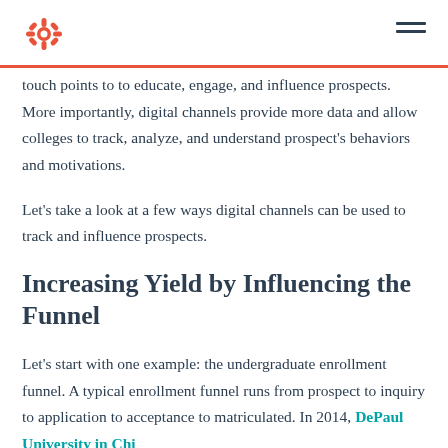HubSpot logo and navigation
touch points to to educate, engage, and influence prospects. More importantly, digital channels provide more data and allow colleges to track, analyze, and understand prospect's behaviors and motivations.
Let's take a look at a few ways digital channels can be used to track and influence prospects.
Increasing Yield by Influencing the Funnel
Let's start with one example: the undergraduate enrollment funnel. A typical enrollment funnel runs from prospect to inquiry to application to acceptance to matriculated. In 2014, DePaul University in Chi...